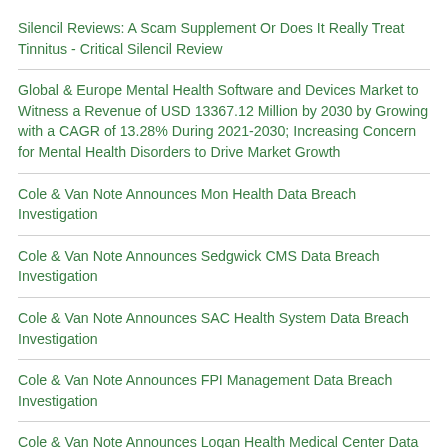Silencil Reviews: A Scam Supplement Or Does It Really Treat Tinnitus - Critical Silencil Review
Global & Europe Mental Health Software and Devices Market to Witness a Revenue of USD 13367.12 Million by 2030 by Growing with a CAGR of 13.28% During 2021-2030; Increasing Concern for Mental Health Disorders to Drive Market Growth
Cole & Van Note Announces Mon Health Data Breach Investigation
Cole & Van Note Announces Sedgwick CMS Data Breach Investigation
Cole & Van Note Announces SAC Health System Data Breach Investigation
Cole & Van Note Announces FPI Management Data Breach Investigation
Cole & Van Note Announces Logan Health Medical Center Data